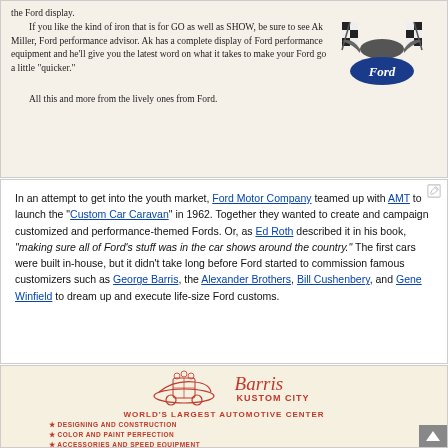the Ford display. If you like the kind of iron that is for GO as well as SHOW, be sure to see Ak Miller, Ford performance advisor. Ak has a complete display of Ford performance equipment and he'll give you the latest word on what it takes to make your Ford go a little "quicker." All this and more from the lively ones from Ford.
[Figure (logo): Ford Motor Company logo with checkered flags and eagle emblem]
In an attempt to get into the youth market, Ford Motor Company teamed up with AMT to launch the "Custom Car Caravan" in 1962. Together they wanted to create and campaign customized and performance-themed Fords. Or, as Ed Roth described it in his book, "making sure all of Ford's stuff was in the car shows around the country." The first cars were built in-house, but it didn't take long before Ford started to commission famous customizers such as George Barris, the Alexander Brothers, Bill Cushenbery, and Gene Winfield to dream up and execute life-size Ford customs.
[Figure (illustration): Barris Kustom City business card with logo featuring a custom car, heraldic shield, and cursive Barris signature. Text reads: WORLD'S LARGEST AUTOMOTIVE CENTER, * DESIGNING AND CONSTRUCTION, * COLOR AND PAINT PERFECTION, * ACCESSORIES AND SPEED EQUIPMENT, * STOCK COLLISION AND PAINT WORK, 10811 RIVERSIDE DRIVE, NORTH HOLLYWOOD, CALIFORNIA, PHONES TR 7-235]